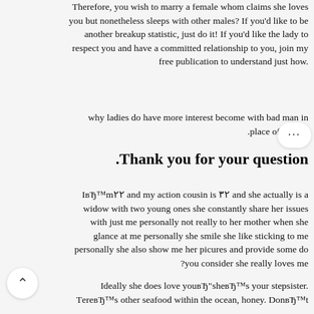Therefore, you wish to marry a female whom claims she loves you but nonetheless sleeps with other males? If you'd like to be another breakup statistic, just do it! If you'd like the lady to respect you and have a committed relationship to you, join my free publication to understand just how
why ladies do have more interest become with bad man in place of good
.Thank you for your question
IвЂ™m٢٢ and my action cousin is ٣٢ and she actually is a widow with two young ones she constantly share her issues with just me personally not really to her mother when she glance at me personally she smile she like sticking to me personally she also show me her picures and provide some do you consider she really loves me?
Ideally she does love youвЂ"sheвЂ™s your stepsister. ТereвЂ™s other seafood within the ocean, honey. DonвЂ™t